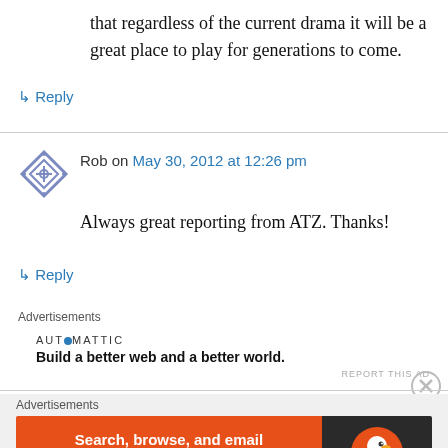that regardless of the current drama it will be a great place to play for generations to come.
↳ Reply
Rob on May 30, 2012 at 12:26 pm
Always great reporting from ATZ. Thanks!
↳ Reply
Advertisements
[Figure (logo): Automattic logo with tagline: Build a better web and a better world.]
REPORT THIS AD
Advertisements
[Figure (infographic): DuckDuckGo advertisement banner: Search, browse, and email with more privacy. All in One Free App. Shows DuckDuckGo duck logo on dark background.]
REPORT THIS AD